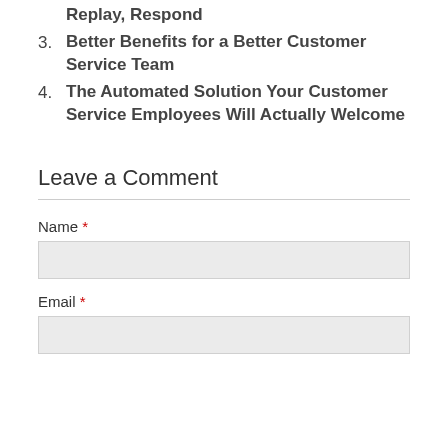Replay, Respond
3. Better Benefits for a Better Customer Service Team
4. The Automated Solution Your Customer Service Employees Will Actually Welcome
Leave a Comment
Name *
Email *